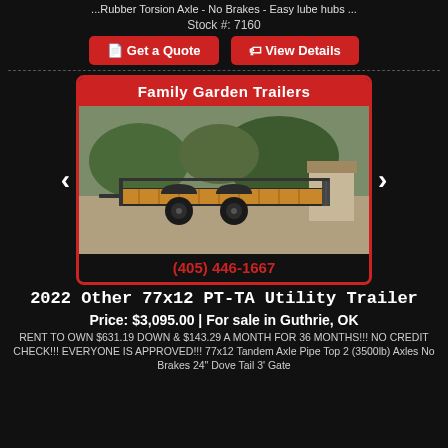...Rubber Torsion Axle - No Brakes - Easy lube hubs ...
Stock #: 7160
[Figure (screenshot): Two red buttons: 'Get a Quote' and 'View Details']
[Figure (photo): Family Garden Trailers promotional card showing a 2022 utility trailer. Red header with 'Family Garden Trailers' text, photo of black utility trailer in gravel lot, red footer with phone number (405) 446-1667.]
2022 Other 77x12 PT-TA Utility Trailer
Price: $3,095.00 | For sale in Guthrie, OK
RENT TO OWN $631.19 DOWN & $143.29 A MONTH FOR 36 MONTHS!!! NO CREDIT CHECK!!! EVERYONE IS APPROVED!!! 77x12 Tandem Axle Pipe Top 2 (3500lb) Axles No Brakes 24" Dove Tail 3' Gate